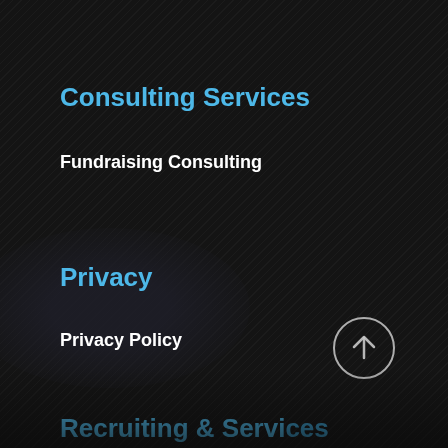Consulting Services
Fundraising Consulting
Privacy
Privacy Policy
[Figure (illustration): Circular scroll-to-top button with upward arrow, outlined in white on dark background]
Recruiting & Services